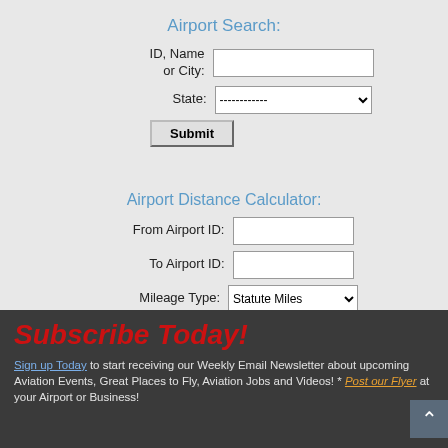Airport Search:
ID, Name or City: [text input]
State: [dropdown: ------------]
[Submit button]
Airport Distance Calculator:
From Airport ID: [text input]
To Airport ID: [text input]
Mileage Type: [dropdown: Statute Miles]
[Calculate button]
Put this on your Website!
Subscribe Today!
Sign up Today to start receiving our Weekly Email Newsletter about upcoming Aviation Events, Great Places to Fly, Aviation Jobs and Videos! * Post our Flyer at your Airport or Business!